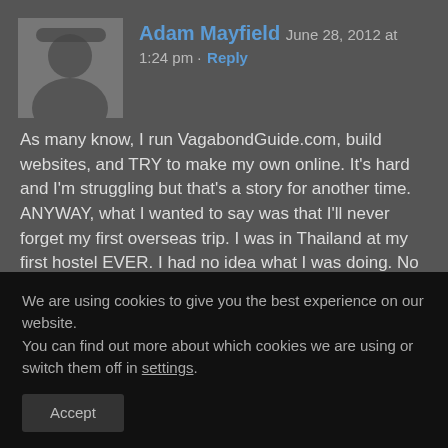[Figure (photo): Avatar photo of Adam Mayfield, person wearing hat outdoors]
Adam Mayfield June 28, 2012 at 1:24 pm · Reply
As many know, I run VagabondGuide.com, build websites, and TRY to make my own online. It's hard and I'm struggling but that's a story for another time. ANYWAY, what I wanted to say was that I'll never forget my first overseas trip. I was in Thailand at my first hostel EVER. I had no idea what I was doing. No idea where I was going. I felt like a total idiot.
We are using cookies to give you the best experience on our website.
You can find out more about which cookies we are using or switch them off in settings.
Accept